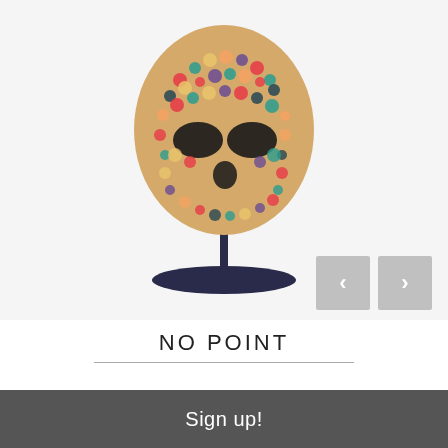[Figure (photo): A skull sculpture made from colorful pencils arranged in cross-section pattern, mounted on a dark navy circular base via a thin metal rod stand, displayed against a light gray-white background. Navigation arrow buttons (left and right) are visible in the lower right of the image area.]
NO POINT
Sign up!